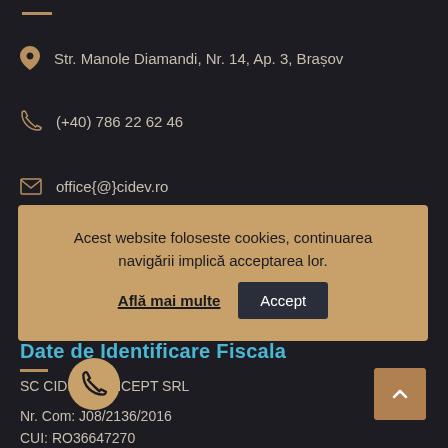Str. Manole Diamandi, Nr. 14, Ap. 3, Brașov
(+40) 786 22 62 46
office{@}cidev.ro
[Figure (screenshot): Cookie consent banner with text: Acest website foloseste cookies, continuarea navigării implică acceptarea lor. Aflā mai multe [link] Accept [button]]
Date de Identificare Fiscala
SC CIDEV CONCEPT SRL
Nr. Com: J08/2136/2016
CUI: RO36647270